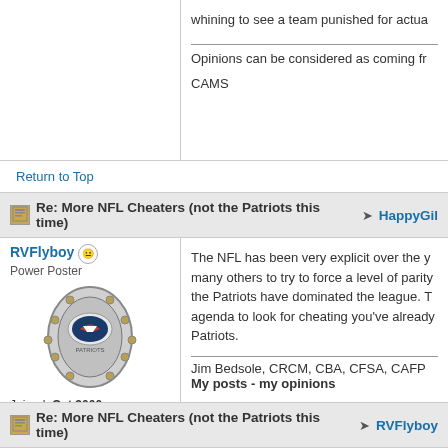whining to see a team punished for actua...
Opinions can be considered as coming fr...
CAMS
Return to Top
Re: More NFL Cheaters (not the Patriots this time) → HappyGil...
RVFlyboy
Power Poster
Joined: Oct 2000
Posts: 5,978
Soaring over Georgia
The NFL has been very explicit over the y... many others to try to force a level of parity... the Patriots have dominated the league. T... agenda to look for cheating you've alread... Patriots.
Jim Bedsole, CRCM, CBA, CFSA, CAFP...
My posts - my opinions
Return to Top
Re: More NFL Cheaters (not the Patriots this time) → RVFlyboy...